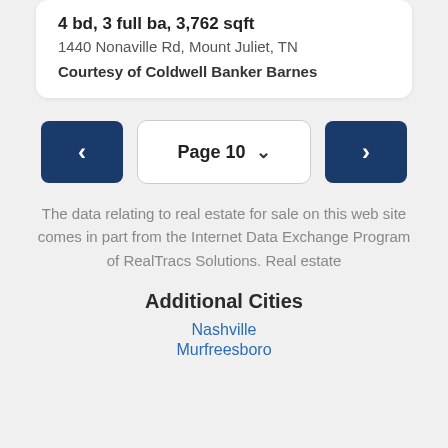4 bd, 3 full ba, 3,762 sqft
1440 Nonaville Rd, Mount Juliet, TN
Courtesy of Coldwell Banker Barnes
[Figure (other): Pagination controls: left arrow button, Page 10 dropdown, right arrow button]
The data relating to real estate for sale on this web site comes in part from the Internet Data Exchange Program of RealTracs Solutions. Real estate
Additional Cities
Nashville
Murfreesboro